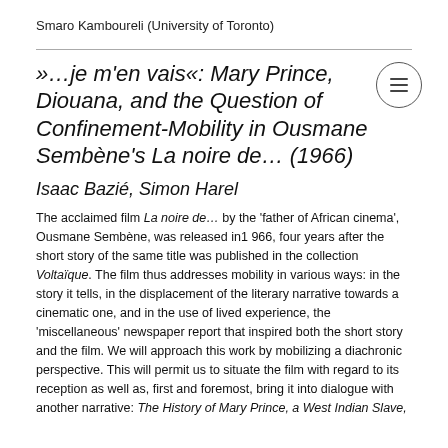Smaro Kamboureli (University of Toronto)
»…je m'en vais«: Mary Prince, Diouana, and the Question of Confinement-Mobility in Ousmane Sembène's La noire de… (1966)
Isaac Bazié, Simon Harel
The acclaimed film La noire de… by the 'father of African cinema', Ousmane Sembène, was released in1 966, four years after the short story of the same title was published in the collection Voltaïque. The film thus addresses mobility in various ways: in the story it tells, in the displacement of the literary narrative towards a cinematic one, and in the use of lived experience, the 'miscellaneous' newspaper report that inspired both the short story and the film. We will approach this work by mobilizing a diachronic perspective. This will permit us to situate the film with regard to its reception as well as, first and foremost, bring it into dialogue with another narrative: The History of Mary Prince, a West Indian Slave,